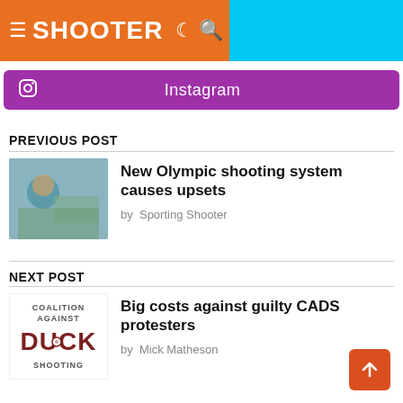SHOOTER
[Figure (logo): Instagram social media link bar, purple background with Instagram icon and text]
PREVIOUS POST
[Figure (photo): Thumbnail photo of a person shooting at an Olympic shooting event]
New Olympic shooting system causes upsets
by Sporting Shooter
NEXT POST
[Figure (logo): Coalition Against Duck Shooting logo]
Big costs against guilty CADS protesters
by Mick Matheson